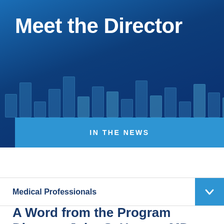[Figure (illustration): Blue hero banner with dark blue gradient background, pixelated grid block pattern decorations, and white bold title text 'Meet the Director']
IN THE NEWS
Medical Professionals
A Word from the Program Director, John S. Harvey, MD,